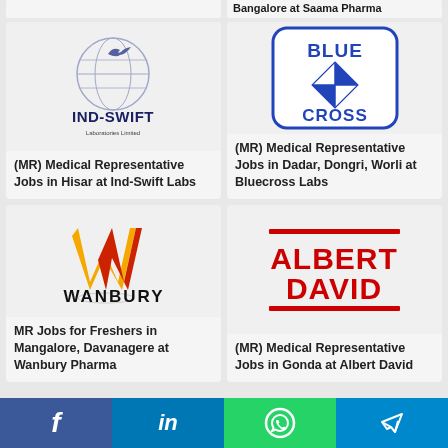[Figure (logo): Ind-Swift Laboratories Limited logo with globe and bird]
(MR) Medical Representative Jobs in Hisar at Ind-Swift Labs
[Figure (logo): Blue Cross logo with checkered diamond pattern]
(MR) Medical Representative Jobs in Dadar, Dongri, Worli at Bluecross Labs
[Figure (logo): Wanbury logo with orange and red W]
MR Jobs for Freshers in Mangalore, Davanagere at Wanbury Pharma
[Figure (logo): Albert David logo in red text]
(MR) Medical Representative Jobs in Gonda at Albert David